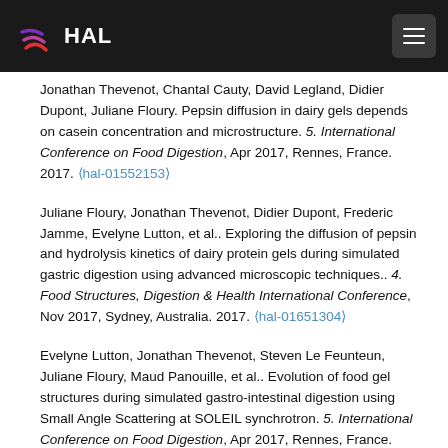HAL
Jonathan Thevenot, Chantal Cauty, David Legland, Didier Dupont, Juliane Floury. Pepsin diffusion in dairy gels depends on casein concentration and microstructure. 5. International Conference on Food Digestion, Apr 2017, Rennes, France. 2017. (hal-01552153)
Juliane Floury, Jonathan Thevenot, Didier Dupont, Frederic Jamme, Evelyne Lutton, et al.. Exploring the diffusion of pepsin and hydrolysis kinetics of dairy protein gels during simulated gastric digestion using advanced microscopic techniques.. 4. Food Structures, Digestion & Health International Conference, Nov 2017, Sydney, Australia. 2017. (hal-01651304)
Evelyne Lutton, Jonathan Thevenot, Steven Le Feunteun, Juliane Floury, Maud Panouille, et al.. Evolution of food gel structures during simulated gastro-intestinal digestion using Small Angle Scattering at SOLEIL synchrotron. 5. International Conference on Food Digestion, Apr 2017, Rennes, France. 2017. (hal-01581553)